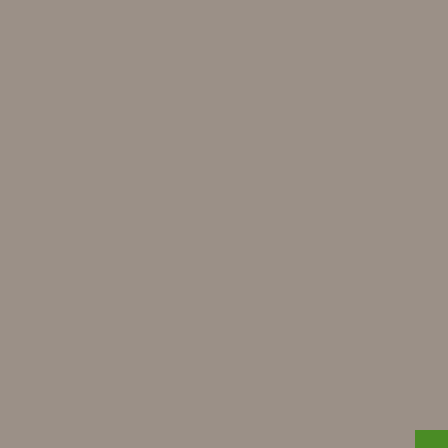[Figure (illustration): Large gray-brown rectangular panel occupying the left approximately 80% of the page, serving as a background image placeholder.]
Soviet Union. B Warsaw Pact w two parts of the providing favou democracies ba the Communist Western E regimes so assistance driving forc Union, tasked w and prosperity, curtain also pa Copenhagen E unique in the E Europe's infras Europe and We